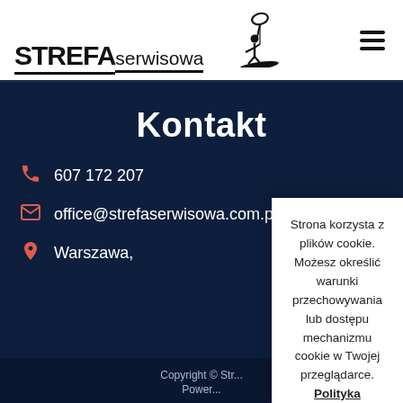STREFAserwisowa [logo with figure]
Kontakt
607 172 207
office@strefaserwisowa.com.pl
Warszawa,
Strona korzysta z plików cookie. Możesz określić warunki przechowywania lub dostępu mechanizmu cookie w Twojej przeglądarce. Polityka prywatności
Zamknij
Copyright © Str...
Power...